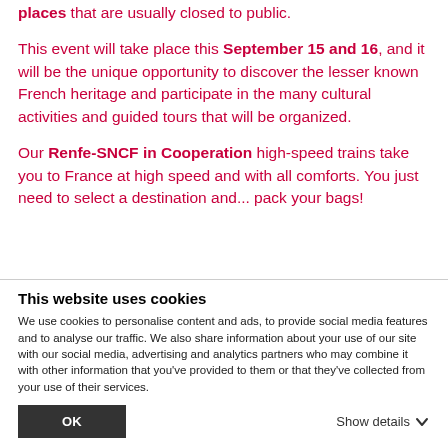places that are usually closed to public.
This event will take place this September 15 and 16, and it will be the unique opportunity to discover the lesser known French heritage and participate in the many cultural activities and guided tours that will be organized.
Our Renfe-SNCF in Cooperation high-speed trains take you to France at high speed and with all comforts. You just need to select a destination and... pack your bags!
This website uses cookies
We use cookies to personalise content and ads, to provide social media features and to analyse our traffic. We also share information about your use of our site with our social media, advertising and analytics partners who may combine it with other information that you've provided to them or that they've collected from your use of their services.
OK
Show details